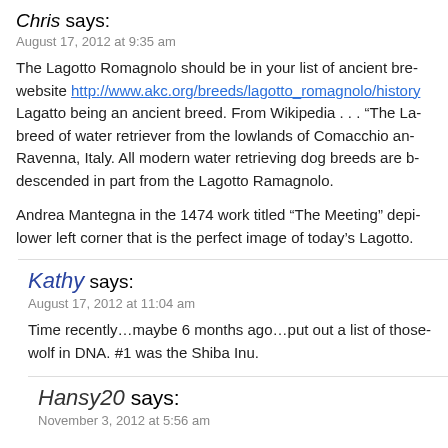Chris says:
August 17, 2012 at 9:35 am
The Lagotto Romagnolo should be in your list of ancient breeds website http://www.akc.org/breeds/lagotto_romagnolo/history Lagatto being an ancient breed. From Wikipedia . . . “The Lagotto is a breed of water retriever from the lowlands of Comacchio and marshes of Ravenna, Italy. All modern water retrieving dog breeds are believed to be descended in part from the Lagotto Ramagnolo.
Andrea Mantegna in the 1474 work titled “The Meeting” depicts a dog in the lower left corner that is the perfect image of today’s Lagotto.
Kathy says:
August 17, 2012 at 11:04 am
Time recently…maybe 6 months ago…put out a list of those closest to wolf in DNA. #1 was the Shiba Inu.
Hansy20 says:
November 3, 2012 at 5:56 am